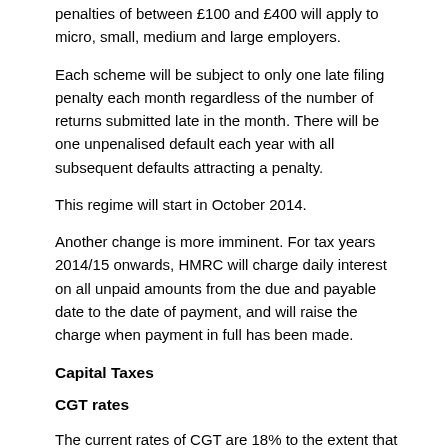penalties of between £100 and £400 will apply to micro, small, medium and large employers.
Each scheme will be subject to only one late filing penalty each month regardless of the number of returns submitted late in the month. There will be one unpenalised default each year with all subsequent defaults attracting a penalty.
This regime will start in October 2014.
Another change is more imminent. For tax years 2014/15 onwards, HMRC will charge daily interest on all unpaid amounts from the due and payable date to the date of payment, and will raise the charge when payment in full has been made.
Capital Taxes
CGT rates
The current rates of CGT are 18% to the extent that any income tax basic rate band is available and 28% thereafter.